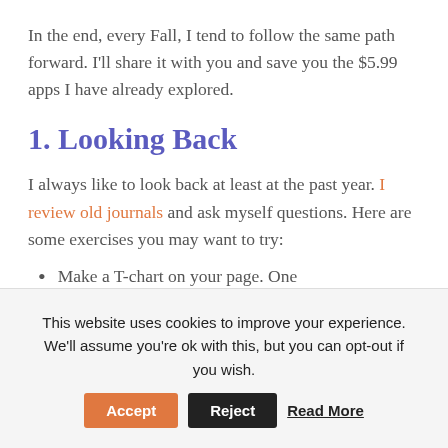In the end, every Fall, I tend to follow the same path forward.  I'll share it with you and save you the $5.99 apps I have already explored.
1. Looking Back
I always like to look back at least at the past year.  I review old journals and ask myself questions.  Here are some exercises you may want to try:
Make a T-chart on your page.  One
This website uses cookies to improve your experience. We'll assume you're ok with this, but you can opt-out if you wish.  Accept  Reject  Read More